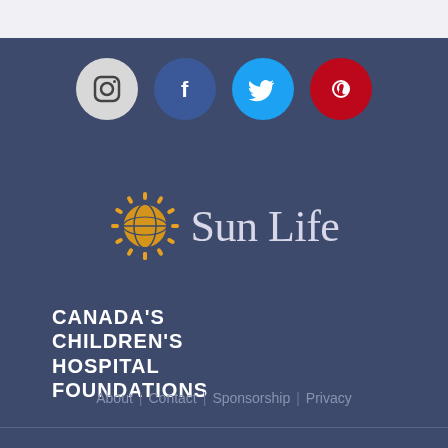[Figure (infographic): Four social media icons in circles: Instagram (grey), Facebook (blue), Twitter (light blue), Pinterest (red)]
[Figure (logo): Sun Life logo - golden sun/globe icon with serif text 'Sun Life' in grey-white]
CANADA'S CHILDREN'S HOSPITAL FOUNDATIONS
About  |  Contact  |  Sponsorship  |  Privacy